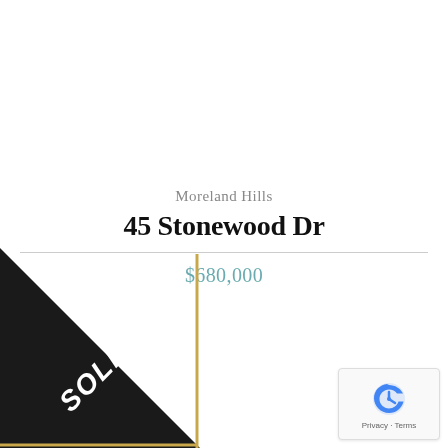Moreland Hills
45 Stonewood Dr
$680,000
[Figure (illustration): Black triangular 'SOLD' banner in bottom-left corner with gold border accent and white italic text reading 'SOLD']
[Figure (logo): reCAPTCHA logo badge with Privacy and Terms links]